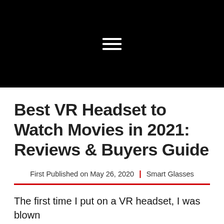[Figure (other): Black navigation header bar with white hamburger menu icon (three horizontal lines)]
Best VR Headset to Watch Movies in 2021: Reviews & Buyers Guide
First Published on May 26, 2020 | Smart Glasses
The first time I put on a VR headset, I was blown